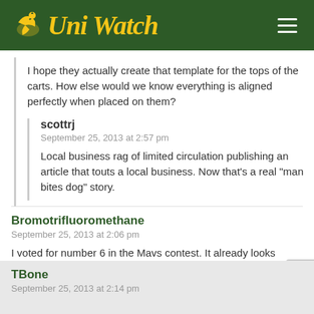Uni Watch
I hope they actually create that template for the tops of the carts. How else would we know everything is aligned perfectly when placed on them?
scottrj
September 25, 2013 at 2:57 pm

Local business rag of limited circulation publishing an article that touts a local business. Now that’s a real “man bites dog” story.
Bromotrifluoromethane
September 25, 2013 at 2:06 pm

I voted for number 6 in the Mavs contest. It already looks better than their current set and with a few tweaks would look decent as a full time road uniform. But of course the Nuggets rip off number 9 is winning. Figures.
TBone
September 25, 2013 at 2:14 pm